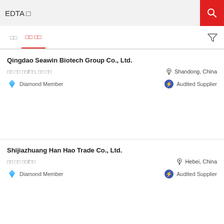EDTA □
□□	□□ □□
Qingdao Seawin Biotech Group Co., Ltd.
□□ □□ □□/□□, □□ □□	Shandong, China
Diamond Member	Audited Supplier
Shijiazhuang Han Hao Trade Co., Ltd.
□□ □□ □□/□□	Hebei, China
Diamond Member	Audited Supplier